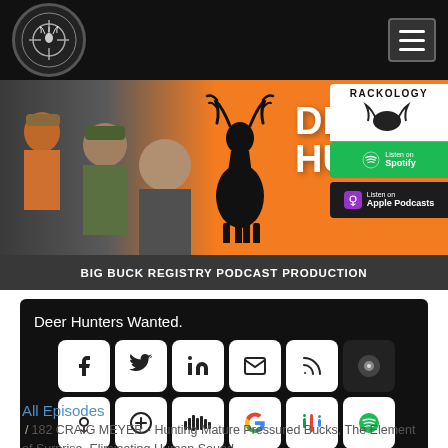[Figure (screenshot): Top navigation bar with Big Buck Registry logo (circular) on the left and hamburger menu button on the right, on black background]
[Figure (screenshot): Orange banner with hunters in camo on left, deer silhouette in center, DEER HUNT text in white, Rackology logo, Spotify and Apple Podcasts badges on right, BIG BUCK REGISTRY PODCAST PRODUCTION text at bottom]
Deer Hunters Wanted.
[Figure (infographic): Grid of 14 social media and podcast platform icon buttons (Facebook, Twitter, LinkedIn, Email, RSS, Podchaser, Apple Podcasts, Plus, Stitcher, Google, Google Podcasts, Spotify, YouTube, RadioPublic) on black background]
All Episodes
/ 182 CRAIG MEYER - Hunting Mature Pressured Bucks, The Element of Surprise, Eliminating Human Sound